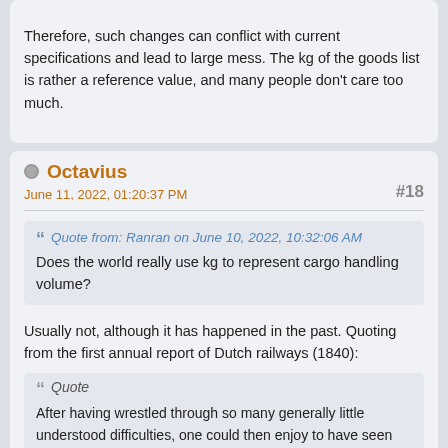Therefore, such changes can conflict with current specifications and lead to large mess. The kg of the goods list is rather a reference value, and many people don't care too much.
Octavius
June 11, 2022, 01:20:37 PM
#18
Quote from: Ranran on June 10, 2022, 10:32:06 AM
Does the world really use kg to represent cargo handling volume?
Usually not, although it has happened in the past. Quoting from the first annual report of Dutch railways (1840):
Quote
After having wrestled through so many generally little understood difficulties, one could then enjoy to have seen the first section of the railway in use throughout the entire year, with a transport, far exceeding expectations, of 371019 passengers and 314626 Dutch pounds of goods and a revenue of 193266.27 guilders, whilst during that year